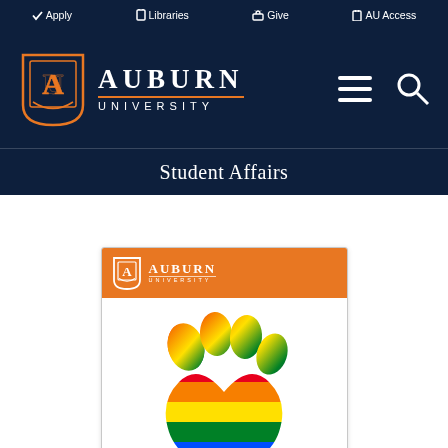Apply  Libraries  Give  AU Access
[Figure (logo): Auburn University logo with AU shield and text AUBURN UNIVERSITY in white on navy background, with hamburger menu and search icons]
Student Affairs
[Figure (illustration): Auburn University branded card with orange header showing AU logo and AUBURN UNIVERSITY text, with a rainbow pride paw print illustration below on white background]